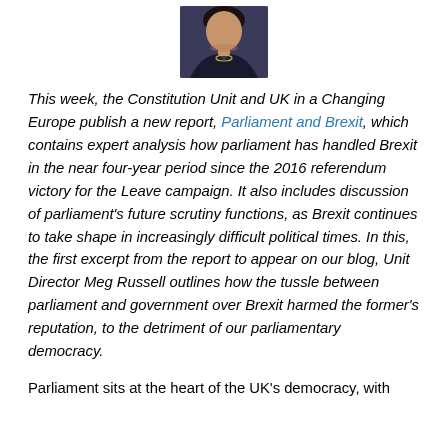[Figure (photo): Headshot photo of a woman (Meg Russell) with dark hair, wearing a dark jacket with a necklace, against a dark background.]
This week, the Constitution Unit and UK in a Changing Europe publish a new report, Parliament and Brexit, which contains expert analysis how parliament has handled Brexit in the near four-year period since the 2016 referendum victory for the Leave campaign. It also includes discussion of parliament's future scrutiny functions, as Brexit continues to take shape in increasingly difficult political times. In this, the first excerpt from the report to appear on our blog, Unit Director Meg Russell outlines how the tussle between parliament and government over Brexit harmed the former's reputation, to the detriment of our parliamentary democracy.
Parliament sits at the heart of the UK's democracy, with